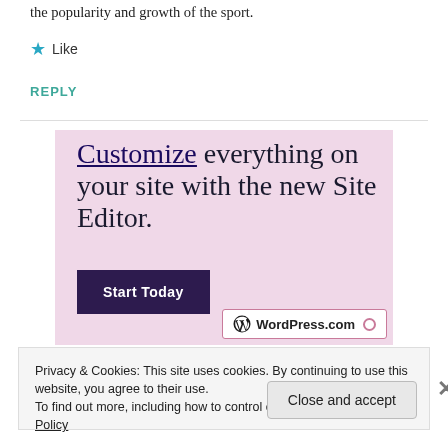the popularity and growth of the sport.
★ Like
REPLY
[Figure (advertisement): WordPress.com advertisement with pink background. Text reads: 'Customize everything on your site with the new Site Editor.' with a dark purple 'Start Today' button and WordPress.com logo bottom right.]
Privacy & Cookies: This site uses cookies. By continuing to use this website, you agree to their use. To find out more, including how to control cookies, see here: Cookie Policy
Close and accept